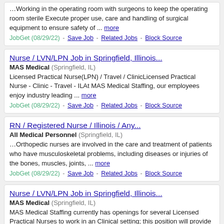…Working in the operating room with surgeons to keep the operating room sterile Execute proper use, care and handling of surgical equipment to ensure safety of ... more
JobGet (08/29/22) - Save Job - Related Jobs - Block Source
Nurse / LVN/LPN Job in Springfield, Illinois...
MAS Medical (Springfield, IL)
Licensed Practical Nurse(LPN) / Travel / ClinicLicensed Practical Nurse - Clinic - Travel - ILAt MAS Medical Staffing, our employees enjoy industry leading ... more
JobGet (08/29/22) - Save Job - Related Jobs - Block Source
RN / Registered Nurse / Illinois / Any...
All Medical Personnel (Springfield, IL)
…Orthopedic nurses are involved in the care and treatment of patients who have musculoskeletal problems, including diseases or injuries of the bones, muscles, joints, ... more
JobGet (08/29/22) - Save Job - Related Jobs - Block Source
Nurse / LVN/LPN Job in Springfield, Illinois...
MAS Medical (Springfield, IL)
MAS Medical Staffing currently has openings for several Licensed Practical Nurses to work in an Clinical setting; this position will provide a wide range of expertise ... more